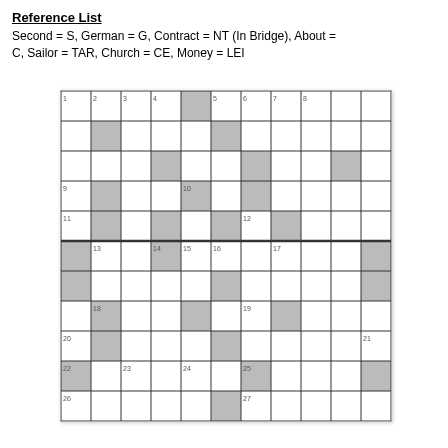Reference List
Second = S, German = G, Contract = NT (In Bridge), About = C, Sailor = TAR, Church = CE, Money = LEI
[Figure (other): Crossword puzzle grid, approximately 11x11 cells with numbered clue positions and black/shaded cells at various intersections.]